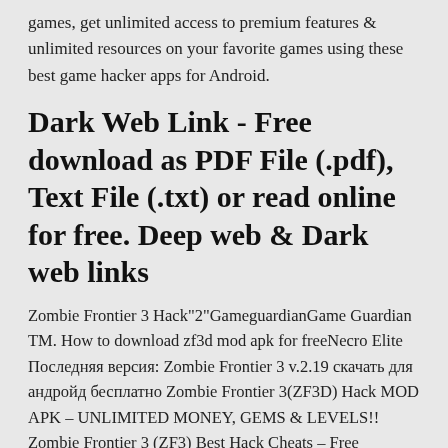games, get unlimited access to premium features & unlimited resources on your favorite games using these best game hacker apps for Android.
Dark Web Link - Free download as PDF File (.pdf), Text File (.txt) or read online for free. Deep web & Dark web links
Zombie Frontier 3 Hack"2"GameguardianGame Guardian TM. How to download zf3d mod apk for freeNecro Elite Последняя версия: Zombie Frontier 3 v.2.19 скачать для андройд бесплатно Zombie Frontier 3(ZF3D) Hack MOD APK – UNLIMITED MONEY, GEMS & LEVELS!! Zombie Frontier 3 (ZF3) Best Hack Cheats – Free Unlimited Gems &
The most elected in Zombie Frontier FPS: android Android